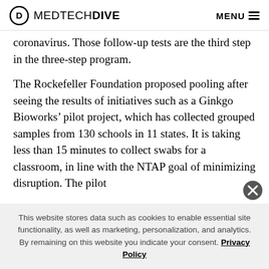MEDTECHDIVE  MENU
coronavirus. Those follow-up tests are the third step in the three-step program.
The Rockefeller Foundation proposed pooling after seeing the results of initiatives such as a Ginkgo Bioworks’ pilot project, which has collected grouped samples from 130 schools in 11 states. It is taking less than 15 minutes to collect swabs for a classroom, in line with the NTAP goal of minimizing disruption. The pilot
This website stores data such as cookies to enable essential site functionality, as well as marketing, personalization, and analytics. By remaining on this website you indicate your consent. Privacy Policy